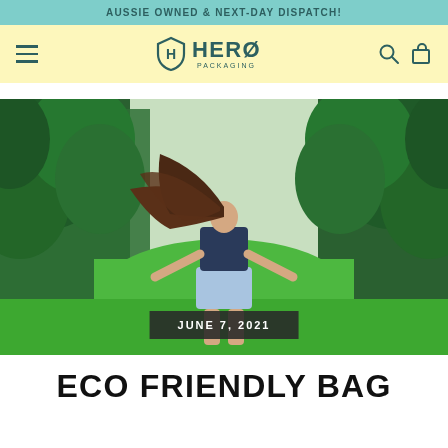AUSSIE OWNED & NEXT-DAY DISPATCH!
[Figure (logo): Hero Packaging logo with shield icon, hamburger menu, search and cart icons on yellow background]
[Figure (photo): Young woman with long flowing brown hair, wearing dark top and denim shorts, standing in a green orchard with trees on both sides]
JUNE 7, 2021
ECO FRIENDLY BAG